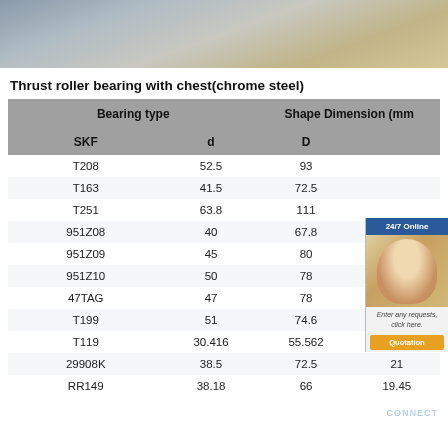[Figure (photo): Close-up photo of metal bearing rings/components on a surface]
Thrust roller bearing with chest(chrome steel)
| Bearing type SKF | d | D |  |
| --- | --- | --- | --- |
| T208 | 52.5 | 93 |  |
| T163 | 41.5 | 72.5 |  |
| T251 | 63.8 | 111 |  |
| 951Z08 | 40 | 67.8 | 19 |
| 951Z09 | 45 | 80 | 16.7 |
| 951Z10 | 50 | 78 | 22 |
| 47TAG | 47 | 78 | 23 |
| T199 | 51 | 74.6 | 15.9 |
| T119 | 30.416 | 55.562 | 15.875 |
| 29908K | 38.5 | 72.5 | 21 |
| RR149 | 38.18 | 66 | 19.45 |